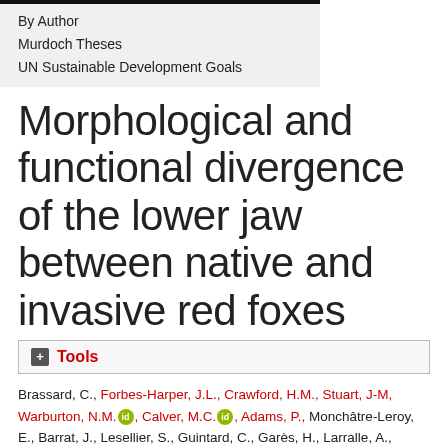By Author
Murdoch Theses
UN Sustainable Development Goals
Morphological and functional divergence of the lower jaw between native and invasive red foxes
Tools
Brassard, C., Forbes-Harper, J.L., Crawford, H.M., Stuart, J-M, Warburton, N.M., Calver, M.C., Adams, P., Monchâtre-Leroy, E., Barrat, J., Lesellier, S., Guintard, C., Garès, H., Larralle, A., Triquet, R., Merlin, M., Cornette, R., Herrel, A. and Fleming, P.A. (2022) Morphological and functional divergence of the lower jaw between native and